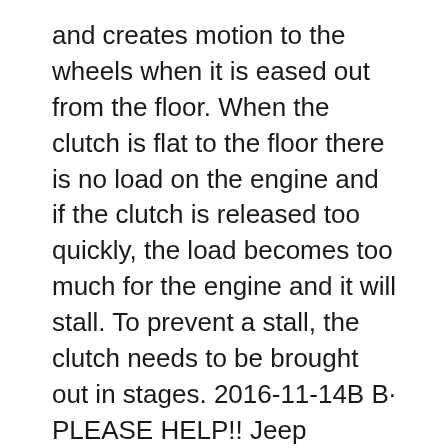and creates motion to the wheels when it is eased out from the floor. When the clutch is flat to the floor there is no load on the engine and if the clutch is released too quickly, the load becomes too much for the engine and it will stall. To prevent a stall, the clutch needs to be brought out in stages. 2016-11-14B B· PLEASE HELP!! Jeep stalling? is related to a bad ground or some wiring prob in the car. People spend SOOOO much money on sensors that dont repair manual.
2008-09-09B B· Other than the clutch of course, does constantly stalling a manual hurt the car? Riding the clutch too much or too long = hurting the clutch 2012-05-13B B· Car Stalling On Sharp Turns I was wondering if you had the clutch to the...